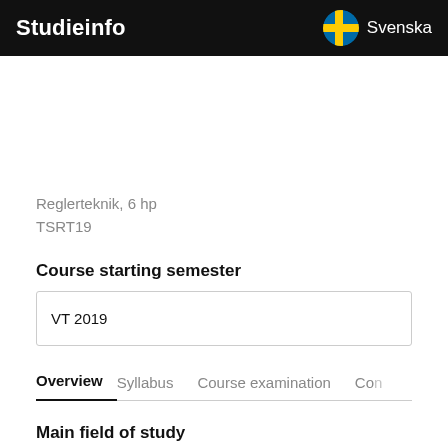Studieinfo
Reglerteknik, 6 hp
TSRT19
Course starting semester
| VT 2019 |
Overview    Syllabus    Course examination    Co...
Main field of study